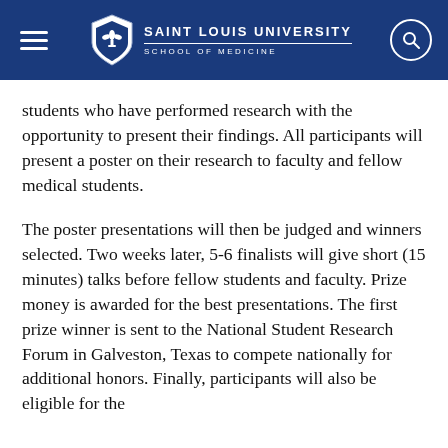SAINT LOUIS UNIVERSITY — SCHOOL OF MEDICINE
students who have performed research with the opportunity to present their findings. All participants will present a poster on their research to faculty and fellow medical students.
The poster presentations will then be judged and winners selected. Two weeks later, 5-6 finalists will give short (15 minutes) talks before fellow students and faculty. Prize money is awarded for the best presentations. The first prize winner is sent to the National Student Research Forum in Galveston, Texas to compete nationally for additional honors. Finally, participants will also be eligible for the